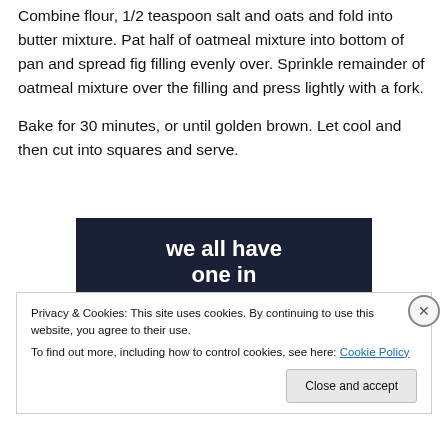Combine flour, 1/2 teaspoon salt and oats and fold into butter mixture. Pat half of oatmeal mixture into bottom of pan and spread fig filling evenly over. Sprinkle remainder of oatmeal mixture over the filling and press lightly with a fork.
Bake for 30 minutes, or until golden brown. Let cool and then cut into squares and serve.
[Figure (screenshot): Partial view of a dark-background web advertisement/promotional image with white and pink text partially visible, showing a book or product promotion.]
Privacy & Cookies: This site uses cookies. By continuing to use this website, you agree to their use.
To find out more, including how to control cookies, see here: Cookie Policy
Close and accept